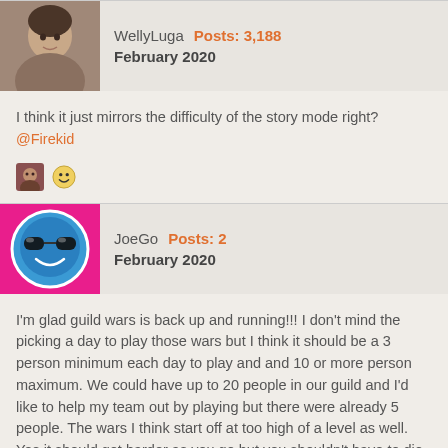[Figure (photo): Avatar image of WellyLuga user showing a person]
WellyLuga  Posts: 3,188
February 2020
I think it just mirrors the difficulty of the story mode right? @Firekid
[Figure (photo): Two reaction images: a small avatar thumbnail and a smiley emoji]
[Figure (illustration): Avatar image of JoeGo user showing a blue cartoon face on pink background]
JoeGo  Posts: 2
February 2020
I'm glad guild wars is back up and running!!! I don't mind the picking a day to play those wars but I think it should be a 3 person minimum each day to play and and 10 or more person maximum. We could have up to 20 people in our guild and I'd like to help my team out by playing but there were already 5 people. The wars I think start off at too high of a level as well. Yes it should get harder as you go but you shouldn't have to die in 1